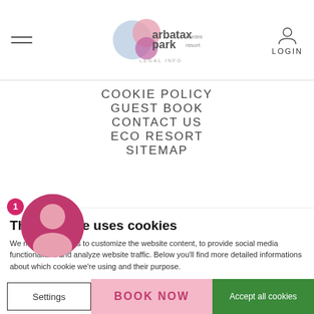Arbatax Park Sardinia Resort — LEGAL INFO — LOGIN
COOKIE POLICY
GUEST BOOK
CONTACT US
ECO RESORT
SITEMAP
CREDITS
This website uses cookies
We may use cookies to customize the website content, to provide social media functionalities and analyze website traffic. Below you'll find more detailed informations about which cookie we're using and their purpose.
Settings | BOOK NOW | Accept all cookies